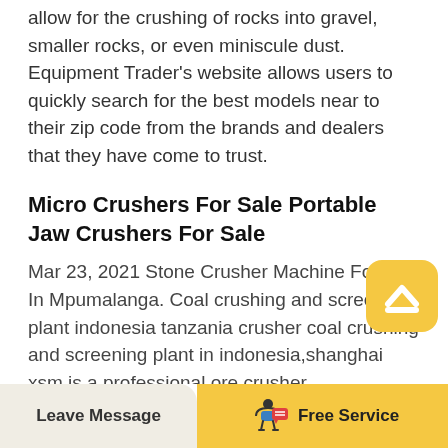allow for the crushing of rocks into gravel, smaller rocks, or even miniscule dust. Equipment Trader's website allows users to quickly search for the best models near to their zip code from the brands and dealers that they have come to trust.
Micro Crushers For Sale Portable Jaw Crushers For Sale
Mar 23, 2021 Stone Crusher Machine For Hire In Mpumalanga. Coal crushing and screening plant indonesia tanzania crusher coal crushing and screening plant in indonesia,shanghai xsm is a professional ore crusher equipment,coal, buy stone crushing and screening plant calcium carbonate, sell stone crushing angala is an open pit coal mine situated in the witbank region of mpumalanga. Used Crushing Equipment for sale. Buy and sell used
[Figure (illustration): Yellow rounded square badge with a white upward-pointing chevron/caret symbol inside]
Leave Message   Free Service